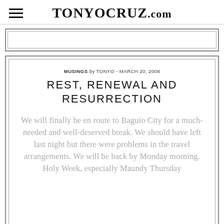TONYOCRUZ.com
[Figure (other): Advertisement placeholder box (top)]
[Figure (other): Content card outer border box]
MUSINGS by TONYO - MARCH 20, 2008
REST, RENEWAL AND RESURRECTION
We will finally be en route to Baguio City for a much-needed and well-deserved break. We should have left last night but there were problems in the travel arrangements. We will be back by Monday morning. Holy Week, especially Maundy Thursday